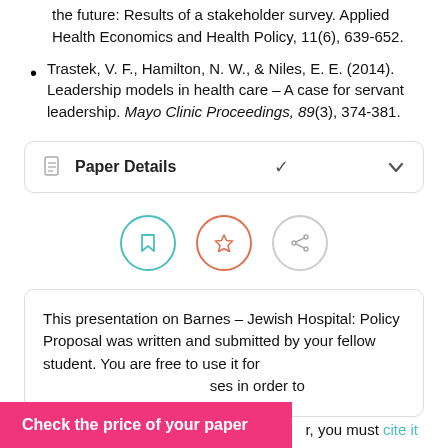the future: Results of a stakeholder survey. Applied Health Economics and Health Policy, 11(6), 639-652.
Trastek, V. F., Hamilton, N. W., & Niles, E. E. (2014). Leadership models in health care – A case for servant leadership. Mayo Clinic Proceedings, 89(3), 374-381.
Paper Details
[Figure (illustration): Three circular icon buttons: a bookmark icon (teal border), a star icon (orange/red border), and a share icon (gray border)]
This presentation on Barnes – Jewish Hospital: Policy Proposal was written and submitted by your fellow student. You are free to use it for ... ses in order to ... you must cite it